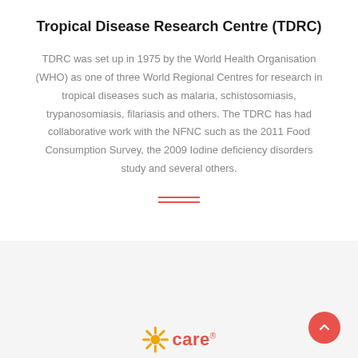Tropical Disease Research Centre (TDRC)
TDRC was set up in 1975 by the World Health Organisation (WHO) as one of three World Regional Centres for research in tropical diseases such as malaria, schistosomiasis, trypanosomiasis, filariasis and others. The TDRC has had collaborative work with the NFNC such as the 2011 Food Consumption Survey, the 2009 Iodine deficiency disorders study and several others.
[Figure (logo): CARE organization logo with orange sunburst icon and red 'care' text with trademark symbol]